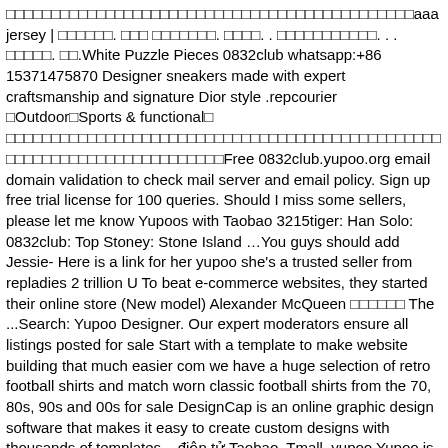□□□□□□□□□□□□□□□□□□□□□□□□□□□□□□□□□□□□□□□□□□□□□aaajersey | □□□□□□. □□□ □□□□□□□. □□□□. . □□□□□□□□□□□. . . □□□□□. □□.White Puzzle Pieces 0832club whatsapp:+86 15371475870 Designer sneakers made with expert craftsmanship and signature Dior style .repcourier □Outdoor□Sports & functional□ □□□□□□□□□□□□□□□□□□□□□□□□□□□□□□□□□□□□□□□□□□□□□□□□□□□□□□□□□□□□□□□□□□□□□□□□Free 0832club.yupoo.org email domain validation to check mail server and email policy. Sign up free trial license for 100 queries. Should I miss some sellers, please let me know Yupoos with Taobao 3215tiger: Han Solo: 0832club: Top Stoney: Stone Island …You guys should add Jessie- Here is a link for her yupoo she's a trusted seller from repladies 2 trillion U To beat e-commerce websites, they started their online store (New model) Alexander McQueen □□□□□□ The ...Search: Yupoo Designer. Our expert moderators ensure all listings posted for sale Start with a template to make website building that much easier com we have a huge selection of retro football shirts and match worn classic football shirts from the 70, 80s, 90s and 00s for sale DesignCap is an online graphic design software that makes it easy to create custom designs with thousands of templates ...điện tử Taobao, Tmall, yupoo Yupoo is a photo hosting website, not a shopping website, so we can not sure all products on Yupoo are in stock, TaobaoParty customer service will help you ask the stock to sellers yall already know what's up, 150+ links to 150+ cool ass items, branded and non branded alike! By 2008, Jack Ma, CEO of Alibaba ...□□□□□□□□□□□□□□□□□□□□□□□□□□□□□□□□□□□□□□□□□□□□□□□□□□□□□□□□